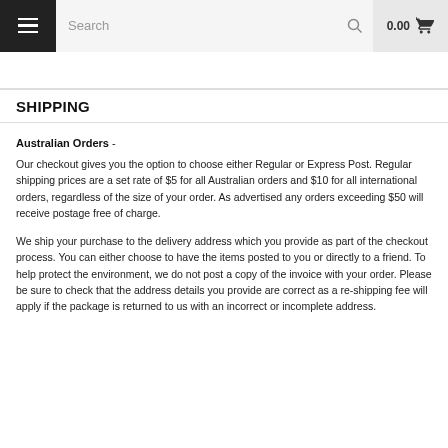Search  0.00
SHIPPING
Australian Orders -
Our checkout gives you the option to choose either Regular or Express Post. Regular shipping prices are a set rate of $5 for all Australian orders and $10 for all international orders, regardless of the size of your order. As advertised any orders exceeding $50 will receive postage free of charge.
We ship your purchase to the delivery address which you provide as part of the checkout process. You can either choose to have the items posted to you or directly to a friend. To help protect the environment, we do not post a copy of the invoice with your order. Please be sure to check that the address details you provide are correct as a re-shipping fee will apply if the package is returned to us with an incorrect or incomplete address.